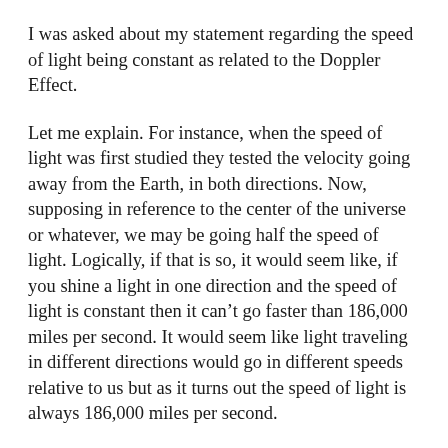I was asked about my statement regarding the speed of light being constant as related to the Doppler Effect.
Let me explain. For instance, when the speed of light was first studied they tested the velocity going away from the Earth, in both directions. Now, supposing in reference to the center of the universe or whatever, we may be going half the speed of light. Logically, if that is so, it would seem like, if you shine a light in one direction and the speed of light is constant then it can't go faster than 186,000 miles per second. It would seem like light traveling in different directions would go in different speeds relative to us but as it turns out the speed of light is always 186,000 miles per second.
Let me put this in another framework. Suppose you're on a train and you're going half the speed of light and according the law of the universe here, light can't go over 186,000 miles per second. So if you're going half the speed of light it would logically seem that if you shine the light in front of you and light traveled